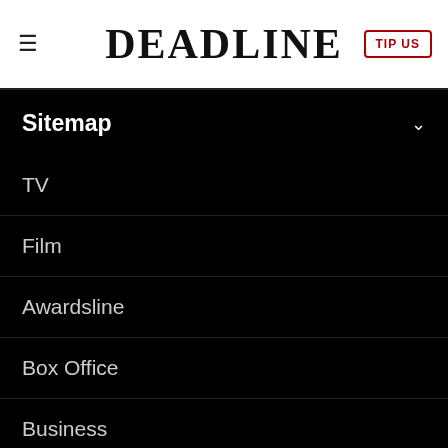DEADLINE
Sitemap
TV
Film
Awardsline
Box Office
Business
International